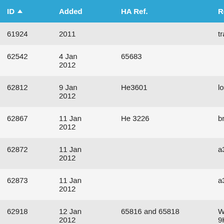| ID▲ | Added | HA Ref. | Road |
| --- | --- | --- | --- |
| 61924 | 2011 |  | transpo… |
| 62542 | 4 Jan 2012 | 65683 |  |
| 62812 | 9 Jan 2012 | He3601 | london … |
| 62867 | 11 Jan 2012 | He 3226 | brent wa… |
| 62872 | 11 Jan 2012 |  | a312 gyr… |
| 62873 | 11 Jan 2012 |  | a312 the… |
| 62918 | 12 Jan 2012 | 65816 and 65818 | Whytecr… 9HH |